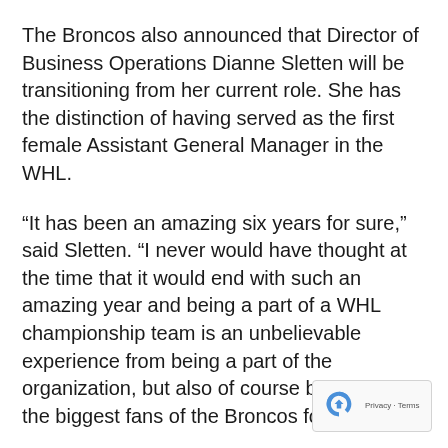The Broncos also announced that Director of Business Operations Dianne Sletten will be transitioning from her current role. She has the distinction of having served as the first female Assistant General Manager in the WHL.
“It has been an amazing six years for sure,” said Sletten. “I never would have thought at the time that it would end with such an amazing year and being a part of a WHL championship team is an unbelievable experience from being a part of the organization, but also of course being one of the biggest fans of the Broncos for sure.”
“Very looking forward to what might happen next for...